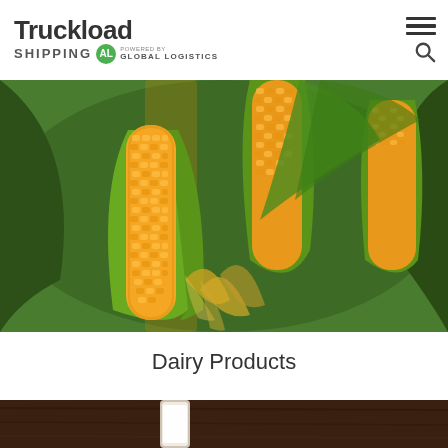Truckload SHIPPING | POWERED BY GLOBAL LOGISTICS
[Figure (photo): Close-up photograph of corn ears on the stalk with green husks and yellow kernels, vibrant background of corn field]
Dairy Products
[Figure (photo): Partial view of dairy products photo at bottom of page]